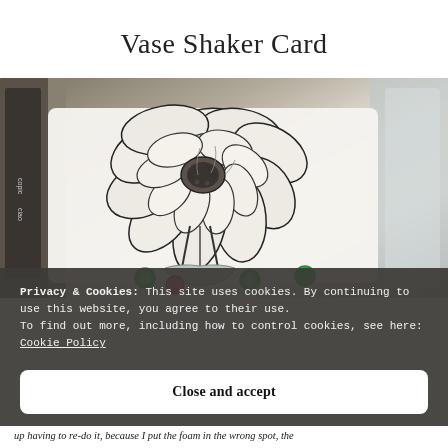Vase Shaker Card
[Figure (photo): Close-up photo of a handmade card featuring a large black and white line-art flower (peony/anemone) with green and pink sequins visible at the bottom, Copic markers visible in background]
Privacy & Cookies: This site uses cookies. By continuing to use this website, you agree to their use.
To find out more, including how to control cookies, see here: Cookie Policy
Close and accept
up having to re-do it, because I put the foam in the wrong spot, the